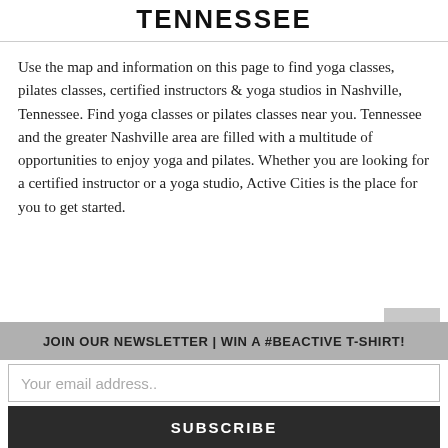TENNESSEE
Use the map and information on this page to find yoga classes, pilates classes, certified instructors & yoga studios in Nashville, Tennessee. Find yoga classes or pilates classes near you. Tennessee and the greater Nashville area are filled with a multitude of opportunities to enjoy yoga and pilates. Whether you are looking for a certified instructor or a yoga studio, Active Cities is the place for you to get started.
JOIN OUR NEWSLETTER | WIN A #BEACTIVE T-SHIRT!
Your email address..
SUBSCRIBE